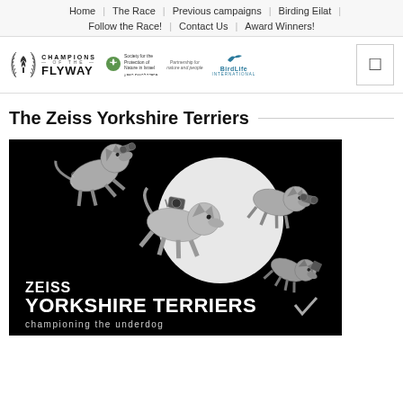Home | The Race | Previous campaigns | Birding Eilat | Follow the Race! | Contact Us | Award Winners!
[Figure (logo): Champions of the Flyway logo with laurel wreath, SPNI (Society for the Protection of Nature in Israel), Partnership for nature and people, BirdLife International logos]
The Zeiss Yorkshire Terriers
[Figure (illustration): Black background illustration showing cartoon Yorkshire Terrier dogs flying/leaping, holding binoculars and cameras, with a full moon circle behind them. Text reads ZEISS YORKSHIRE TERRIERS championing the underdog]